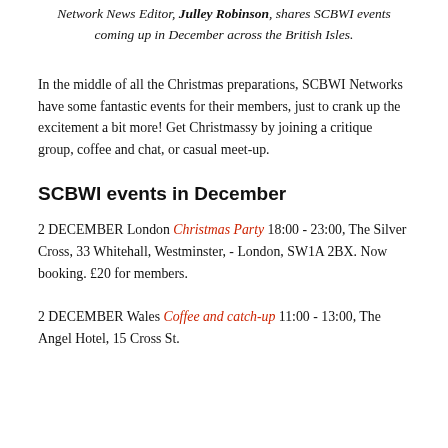Network News Editor, Julley Robinson, shares SCBWI events coming up in December across the British Isles.
In the middle of all the Christmas preparations, SCBWI Networks have some fantastic events for their members, just to crank up the excitement a bit more! Get Christmassy by joining a critique group, coffee and chat, or casual meet-up.
SCBWI events in December
2 DECEMBER London Christmas Party 18:00 - 23:00, The Silver Cross, 33 Whitehall, Westminster, - London, SW1A 2BX. Now booking. £20 for members.
2 DECEMBER Wales Coffee and catch-up 11:00 - 13:00, The Angel Hotel, 15 Cross St.